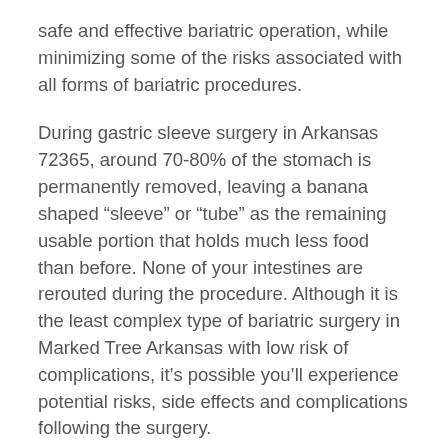safe and effective bariatric operation, while minimizing some of the risks associated with all forms of bariatric procedures.
During gastric sleeve surgery in Arkansas 72365, around 70-80% of the stomach is permanently removed, leaving a banana shaped “sleeve” or “tube” as the remaining usable portion that holds much less food than before. None of your intestines are rerouted during the procedure. Although it is the least complex type of bariatric surgery in Marked Tree Arkansas with low risk of complications, it’s possible you’ll experience potential risks, side effects and complications following the surgery.
Acid reflux, vomiting, diarrhea, constipation and